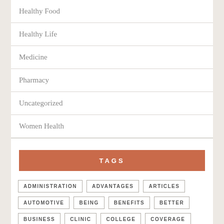Healthy Food
Healthy Life
Medicine
Pharmacy
Uncategorized
Women Health
TAGS
ADMINISTRATION
ADVANTAGES
ARTICLES
AUTOMOTIVE
BEING
BENEFITS
BETTER
BUSINESS
CLINIC
COLLEGE
COVERAGE